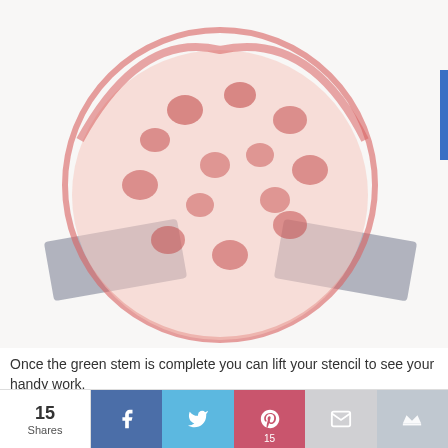[Figure (photo): A blurry photo of a pizza stencil art piece on white paper, showing a red circular pizza drawing with toppings, flanked by two gray rectangular tape pieces, with a small circular logo/watermark in the bottom right of the image.]
Once the green stem is complete you can lift your stencil to see your handy work.
We use cookies to optimize our website and our services.
ACCEPT
15 Shares  [Facebook]  [Twitter]  [Pinterest 15]  [Email]  [Crown]